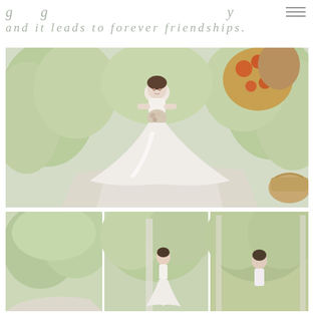g   g                                  y
and it leads to forever friendships.
[Figure (photo): Bride in a white flowing gown standing in a garden with lush green trees and red/orange flowers in the background, holding a bouquet]
[Figure (photo): Three smaller photos at the bottom showing wedding scenes in a garden setting with a bride]